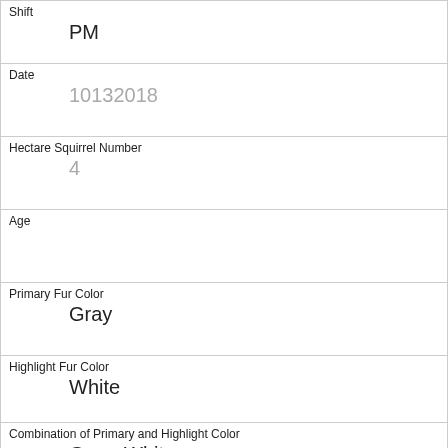| Shift | PM |
| Date | 10132018 |
| Hectare Squirrel Number | 4 |
| Age |  |
| Primary Fur Color | Gray |
| Highlight Fur Color | White |
| Combination of Primary and Highlight Color | Gray+White |
| Color notes |  |
| Location | Ground Plane |
| Above Ground Sighter Measurement | FALSE |
| Specific Location |  |